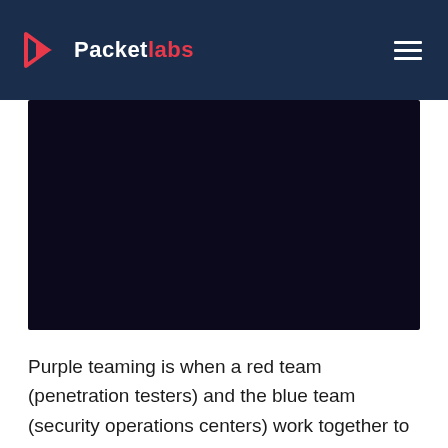Packetlabs
[Figure (other): Dark navy/black hero image area, likely a banner or video thumbnail with very dark background]
Purple teaming is when a red team (penetration testers) and the blue team (security operations centers) work together to improve threat detection. The red team would deploy attacks